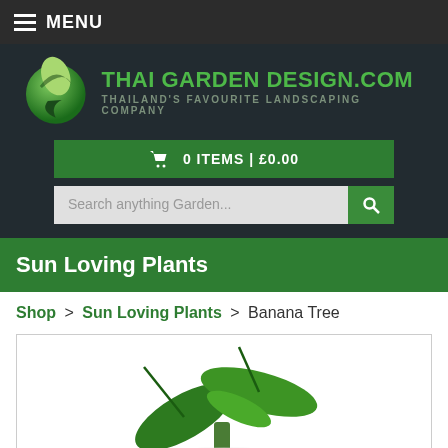MENU
[Figure (logo): Thai Garden Design logo with green leaf globe icon and green bold text 'THAI GARDEN DESIGN.COM' with subtitle 'THAILAND'S FAVOURITE LANDSCAPING COMPANY']
0 ITEMS | £0.00
Search anything Garden...
Sun Loving Plants
Shop > Sun Loving Plants > Banana Tree
[Figure (photo): Banana tree plant with large green leaves, partial view showing top of plant on white background]